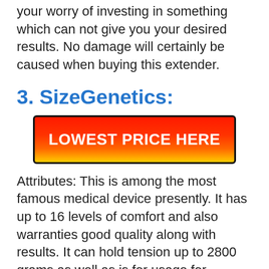your worry of investing in something which can not give you your desired results. No damage will certainly be caused when buying this extender.
3. SizeGenetics:
[Figure (other): Red to yellow gradient call-to-action button with black border reading LOWEST PRICE HERE in bold white uppercase text]
Attributes: This is among the most famous medical device presently. It has up to 16 levels of comfort and also warranties good quality along with results. It can hold tension up to 2800 grams as well as is for usage for anyone having any type of size of penis. The medical gadget can captivate numerous